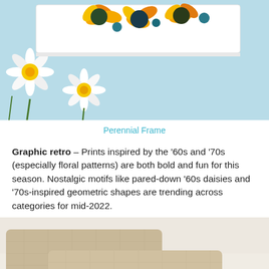[Figure (photo): Photo of daisy flowers and a framed floral print artwork on a light blue background. White daisies with yellow centers are visible alongside sunflower-type blooms in orange and yellow in a white rectangular frame.]
Perennial Frame
Graphic retro – Prints inspired by the '60s and '70s (especially floral patterns) are both bold and fun for this season. Nostalgic motifs like pared-down '60s daisies and '70s-inspired geometric shapes are trending across categories for mid-2022.
[Figure (photo): Photo showing beige/tan textured throw pillows on a white sofa on the left side, and a partial view of pink flowers on the right side.]